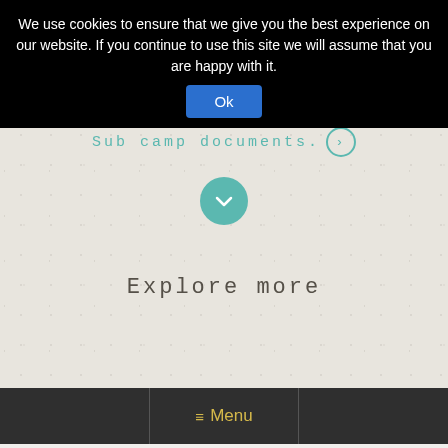We use cookies to ensure that we give you the best experience on our website. If you continue to use this site we will assume that you are happy with it.
Ok
Sub camp documents.
[Figure (other): Teal circular chevron-down button]
Explore more
≡ Menu